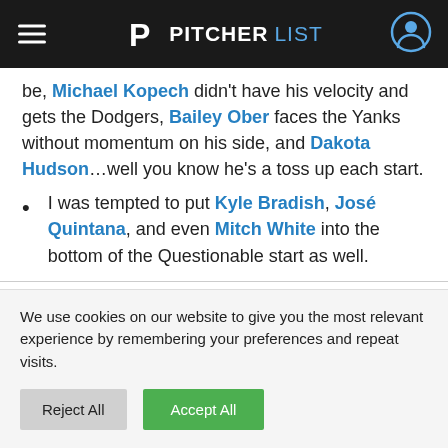PITCHERLIST
be, Michael Kopech didn't have his velocity and gets the Dodgers, Bailey Ober faces the Yanks without momentum on his side, and Dakota Hudson…well you know he's a toss up each start.
I was tempted to put Kyle Bradish, José Quintana, and even Mitch White into the bottom of the Questionable start as well.
We use cookies on our website to give you the most relevant experience by remembering your preferences and repeat visits.